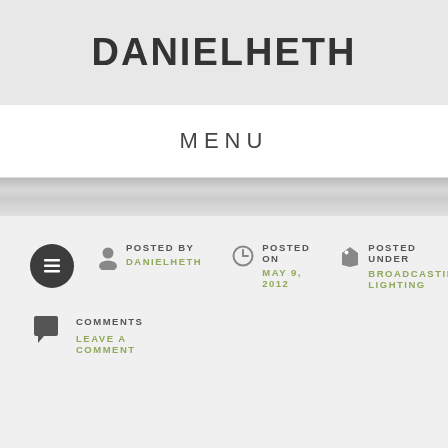DANIELHETH
MENU
POSTED BY DANIELHETH
POSTED ON MAY 9, 2012
POSTED UNDER BROADCASTING, LIGHTING
COMMENTS LEAVE A COMMENT